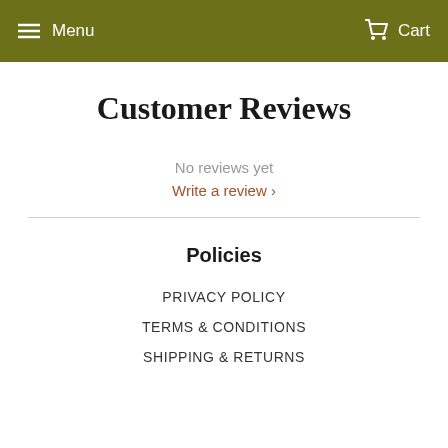Menu   Cart
Customer Reviews
No reviews yet
Write a review ›
Policies
PRIVACY POLICY
TERMS & CONDITIONS
SHIPPING & RETURNS